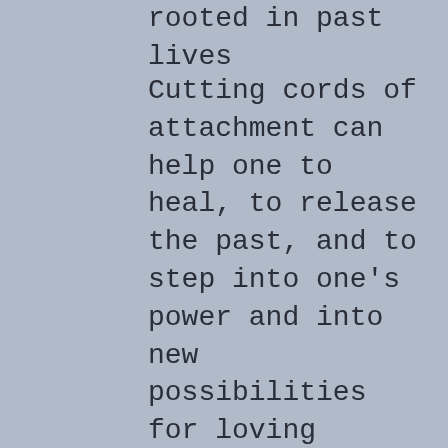rooted in past lives
Cutting cords of attachment can help one to heal, to release the past, and to step into one's power and into new possibilities for loving interactions. It starts as an energetic process of cutting fear based mentalities, followed by the emotional shift to no longer speak of said experiences in a "negative" light as well as the physical shift of removing any objects that are connected with the past attachment